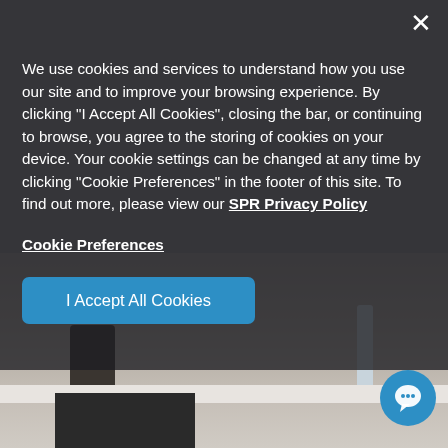[Figure (screenshot): Cookie consent modal overlay on a property/apartment website. Background shows a kitchen scene. Modal has dark semi-transparent background with white text.]
We use cookies and services to understand how you use our site and to improve your browsing experience. By clicking "I Accept All Cookies", closing the bar, or continuing to browse, you agree to the storing of cookies on your device. Your cookie settings can be changed at any time by clicking "Cookie Preferences" in the footer of this site. To find out more, please view our SPR Privacy Policy
Cookie Preferences
I Accept All Cookies